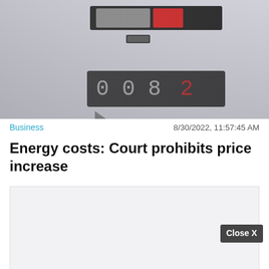[Figure (photo): Close-up photo of an energy meter showing rolling digit display, black and white image with slight blur]
Business   8/30/2022, 11:57:45 AM
Energy costs: Court prohibits price increase
[Figure (other): Advertisement placeholder box (light gray)]
Close X
Business   8/30/2022, 11:57...
[Figure (photo): Bottom section with photo of trees/landscape and Hold and Move app popup overlay]